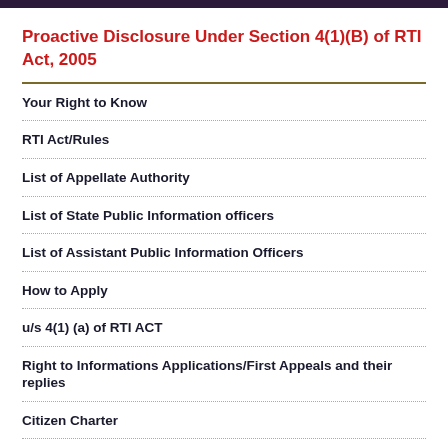Proactive Disclosure Under Section 4(1)(B) of RTI Act, 2005
Your Right to Know
RTI Act/Rules
List of Appellate Authority
List of State Public Information officers
List of Assistant Public Information Officers
How to Apply
u/s 4(1) (a) of RTI ACT
Right to Informations Applications/First Appeals and their replies
Citizen Charter